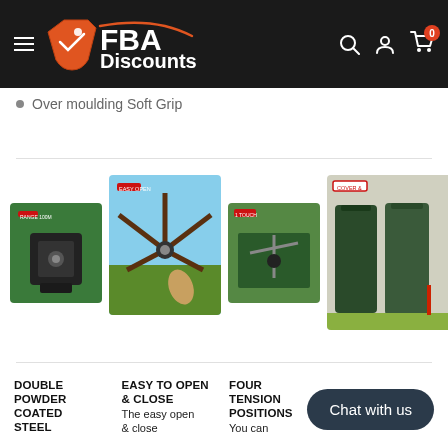FBA Discounts
Over moulding Soft Grip
[Figure (photo): Four product thumbnail images of a rotary washing line/clothesline system, showing base plate, open mechanism, 1-touch detail, and cover bag]
DOUBLE POWDER COATED STEEL
EASY TO OPEN & CLOSE — The easy open & close
FOUR TENSION POSITIONS — You can Setting this